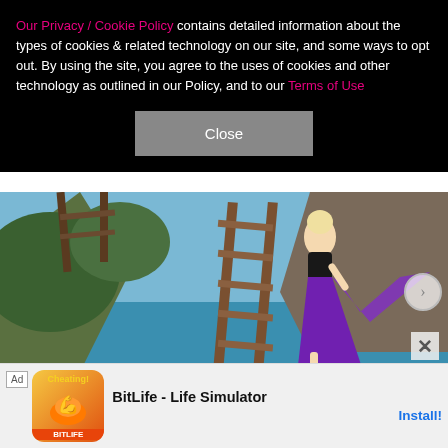Our Privacy / Cookie Policy contains detailed information about the types of cookies & related technology on our site, and some ways to opt out. By using the site, you agree to the uses of cookies and other technology as outlined in our Policy, and to our Terms of Use
Close
[Figure (photo): Woman in a flowing purple dress standing on wooden stairs/ladder on a cliff overlooking a tropical coastal scene with rock formations and blue water]
X
Ad  Cheating?  BitLife - Life Simulator  Install!